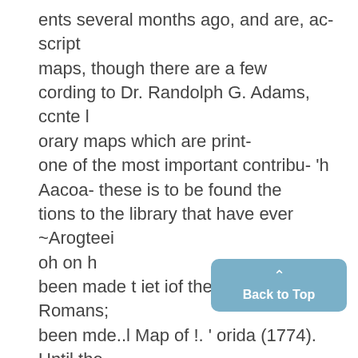ents several months ago, and are, ac- script maps, though there are a few cording to Dr. Randolph G. Adams, ccnte l orary maps which are print- one of the most important contribu- 'h Aacoa- these is to be found the tions to the library that have ever ~Arogteei oh on h been made t iet iof the Bernard Romans; been mde..l Map of !. ' orida (1774). Until the ac- The docum nts reveal the progress quisitin of this map it was thought of the Revolutionary war from the that the